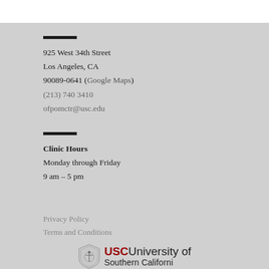925 West 34th Street
Los Angeles, CA
90089-0641 (Google Maps)
(213) 740 3410
ofpomctr@usc.edu
Clinic Hours
Monday through Friday
9 am – 5 pm
Privacy Policy
Terms and Conditions
[Figure (logo): USC University of Southern California logo with shield emblem]